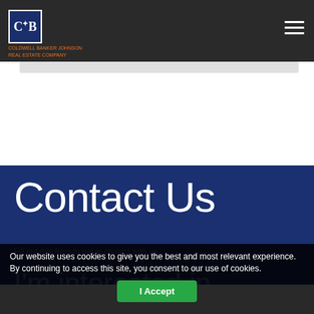CB logo — Coldwell Banker website header with hamburger menu
Contact Us
Fill out this form to get in contact with us.
I'm interested in learning more about
Our website uses cookies to give you the best and most relevant experience. By continuing to access this site, you consent to our use of cookies.
I Accept